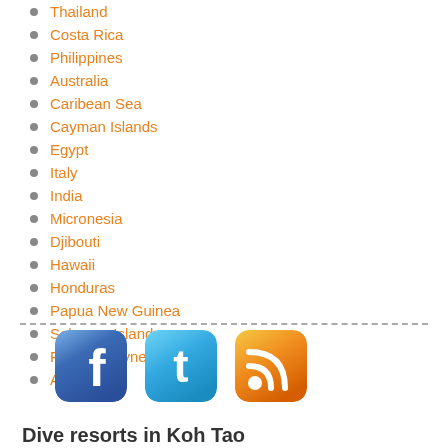Thailand
Costa Rica
Philippines
Australia
Caribean Sea
Cayman Islands
Egypt
Italy
India
Micronesia
Djibouti
Hawaii
Honduras
Papua New Guinea
Solomon Islands
French Polynesia
Arctic
[Figure (logo): Facebook, Twitter, and RSS social media icons]
Dive resorts in Koh Tao